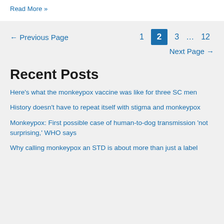Read More »
← Previous Page   1   2   3   …   12   Next Page →
Recent Posts
Here's what the monkeypox vaccine was like for three SC men
History doesn't have to repeat itself with stigma and monkeypox
Monkeypox: First possible case of human-to-dog transmission 'not surprising,' WHO says
Why calling monkeypox an STD is about more than just a label